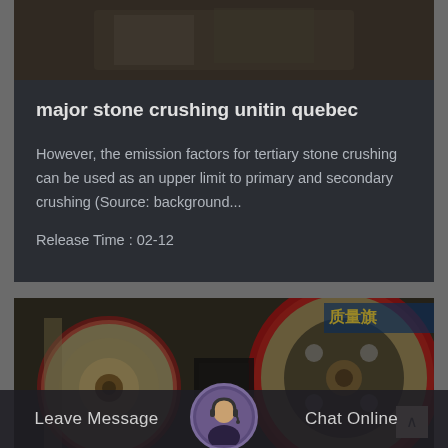[Figure (photo): Dark overlay photo of stone crushing machinery from above]
major stone crushing unitin quebec
However, the emission factors for tertiary stone crushing can be used as an upper limit to primary and secondary crushing (Source: background...
Release Time : 02-12
[Figure (photo): Photo of industrial jaw crusher machinery with red and beige components, Chinese signage visible in background]
Leave Message
Chat Online